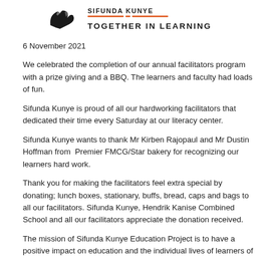[Figure (logo): Sifunda Kunye logo with bird/hands graphic and text TOGETHER IN LEARNING in orange]
6 November 2021
We celebrated the completion of our annual facilitators program with a prize giving and a BBQ. The learners and faculty had loads of fun.
Sifunda Kunye is proud of all our hardworking facilitators that dedicated their time every Saturday at our literacy center.
Sifunda Kunye wants to thank Mr Kirben Rajopaul and Mr Dustin Hoffman from  Premier FMCG/Star bakery for recognizing our learners hard work.
Thank you for making the facilitators feel extra special by donating; lunch boxes, stationary, buffs, bread, caps and bags to all our facilitators. Sifunda Kunye, Hendrik Kanise Combined School and all our facilitators appreciate the donation received.
The mission of Sifunda Kunye Education Project is to have a positive impact on education and the individual lives of learners of